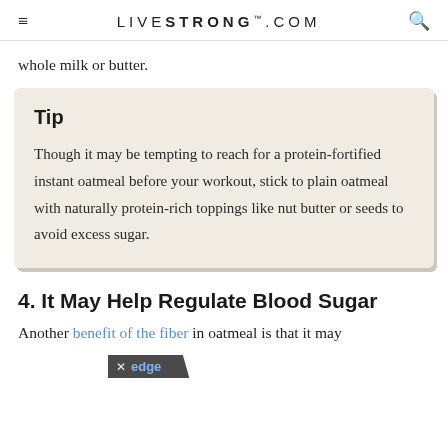LIVESTRONG.COM
whole milk or butter.
Tip
Though it may be tempting to reach for a protein-fortified instant oatmeal before your workout, stick to plain oatmeal with naturally protein-rich toppings like nut butter or seeds to avoid excess sugar.
4. It May Help Regulate Blood Sugar
Another benefit of the fiber in oatmeal is that it may